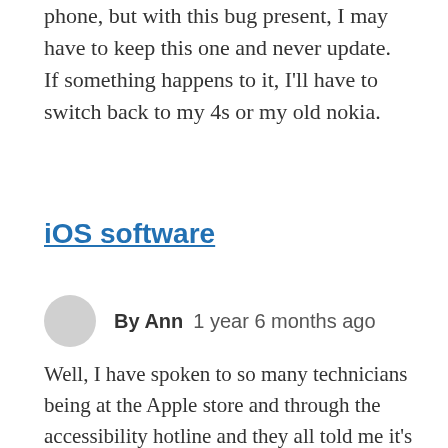phone, but with this bug present, I may have to keep this one and never update. If something happens to it, I'll have to switch back to my 4s or my old nokia.
iOS software
By Ann   1 year 6 months ago
Well, I have spoken to so many technicians being at the Apple store and through the accessibility hotline and they all told me it's a software problem and that purchasing a new phone won't do any good. Anyhow, if I were you, I would go to the Apple Store and see what they tell you. Apparently, there's supposed to be an update this week that is supposed to fix the